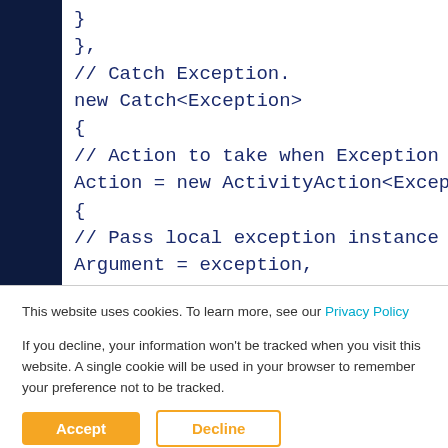[Figure (screenshot): Code snippet showing C# exception handling with Catch<Exception> and ActivityAction<Exception>, displayed on a dark navy background with a white code panel.]
This website uses cookies. To learn more, see our Privacy Policy
If you decline, your information won't be tracked when you visit this website. A single cookie will be used in your browser to remember your preference not to be tracked.
Accept
Decline